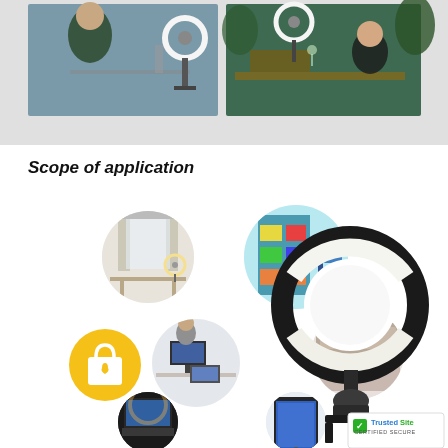[Figure (photo): Two side-by-side product lifestyle photos showing ring lights in use. Left: woman at desk with ring light and camera setup indoors. Right: woman at outdoor table with ring light.]
Scope of application
[Figure (infographic): Collage of circular photos showing various use cases for the ring light (bedroom, colorful room, home office, living room, laptop setup, tablet), a shopping cart icon, and a product photo of a black LED ring light with clamp mount. TrustedSite certified secure badge in bottom right corner.]